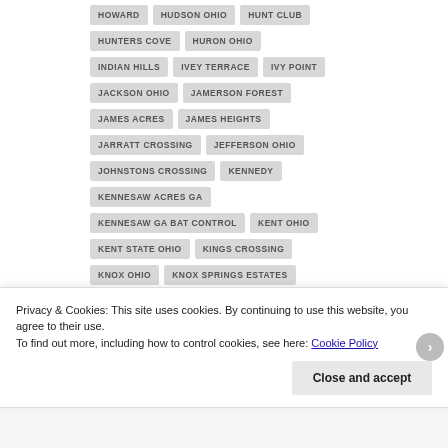HOWARD
HUDSON OHIO
HUNT CLUB
HUNTERS COVE
HURON OHIO
INDIAN HILLS
IVEY TERRACE
IVY POINT
JACKSON OHIO
JAMERSON FOREST
JAMES ACRES
JAMES HEIGHTS
JARRATT CROSSING
JEFFERSON OHIO
JOHNSTONS CROSSING
KENNEDY
KENNESAW ACRES GA
KENNESAW GA BAT CONTROL
KENT OHIO
KENT STATE OHIO
KINGS CROSSING
KNOX OHIO
KNOX SPRINGS ESTATES
Privacy & Cookies: This site uses cookies. By continuing to use this website, you agree to their use.
To find out more, including how to control cookies, see here: Cookie Policy
Close and accept